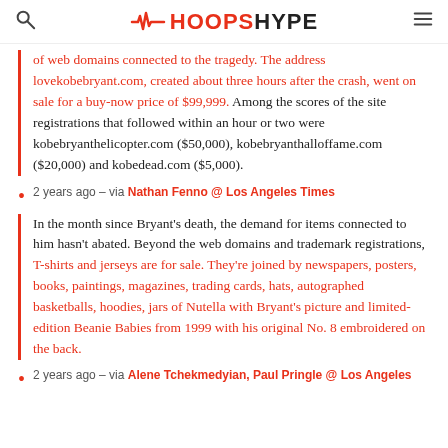HOOPSHYPE
of web domains connected to the tragedy. The address lovekobebryant.com, created about three hours after the crash, went on sale for a buy-now price of $99,999. Among the scores of the site registrations that followed within an hour or two were kobebryanthelicopter.com ($50,000), kobebryanthalloffame.com ($20,000) and kobedead.com ($5,000).
2 years ago – via Nathan Fenno @ Los Angeles Times
In the month since Bryant's death, the demand for items connected to him hasn't abated. Beyond the web domains and trademark registrations, T-shirts and jerseys are for sale. They're joined by newspapers, posters, books, paintings, magazines, trading cards, hats, autographed basketballs, hoodies, jars of Nutella with Bryant's picture and limited-edition Beanie Babies from 1999 with his original No. 8 embroidered on the back.
2 years ago – via Alene Tchekmedyian, Paul Pringle @ Los Angeles Times